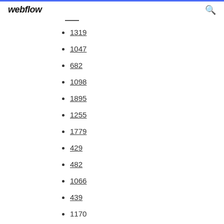webflow
1319
1047
682
1098
1895
1255
1779
429
482
1066
439
1170